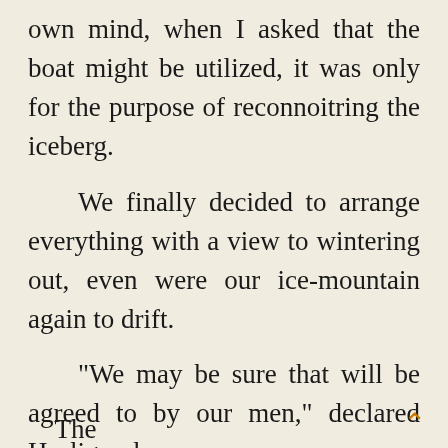own mind, when I asked that the boat might be utilized, it was only for the purpose of reconnoitring the iceberg.
We finally decided to arrange everything with a view to wintering out, even were our ice-mountain again to drift.
“We may be sure that will be agreed to by our men,” declared Hurliguerly.
“What is necessary must be done,” replied the mate, “and to-day we must set to work.”
The...